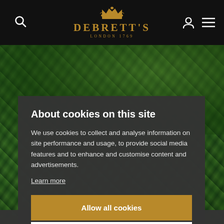[Figure (logo): Debrett's logo with crown emblem, gold text reading DEBRETT'S and subtitle LONDON 1769]
[Figure (photo): Background photo of lush green ivy and foliage leaves with some dark berries visible]
About cookies on this site
We use cookies to collect and analyse information on site performance and usage, to provide social media features and to enhance and customise content and advertisements.
Learn more
Allow all cookies
Cookie settings